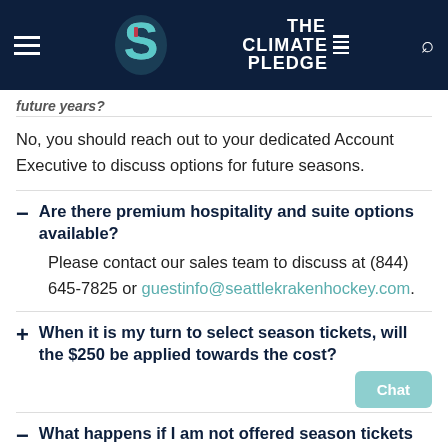The Climate Pledge Arena / Seattle Kraken - navigation header
future years?
No, you should reach out to your dedicated Account Executive to discuss options for future seasons.
Are there premium hospitality and suite options available?
Please contact our sales team to discuss at (844) 645-7825 or guestinfo@seattlekrakenhockey.com.
When it is my turn to select season tickets, will the $250 be applied towards the cost?
What happens if I am not offered season tickets after year one?